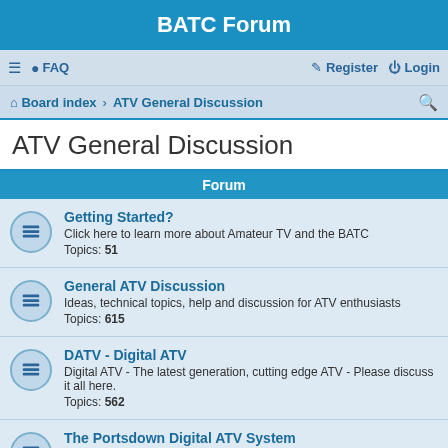BATC Forum
≡  FAQ   Register  Login
Board index · ATV General Discussion
ATV General Discussion
Forum
Getting Started?
Click here to learn more about Amateur TV and the BATC
Topics: 51
General ATV Discussion
Ideas, technical topics, help and discussion for ATV enthusiasts
Topics: 615
DATV - Digital ATV
Digital ATV - The latest generation, cutting edge ATV - Please discuss it all here.
Topics: 562
The Portsdown Digital ATV System
Discussion about this major DATV Project. See https://wiki.batc.org.uk/The_Portsdown_Transmitter
Topics: 663
The Ryde Digital ATV Receiver
Discussions about the Ryde "Set-top Box" Style Digital ATV Receiver. See https://wiki.batc.org.uk/Ryde_Receiver